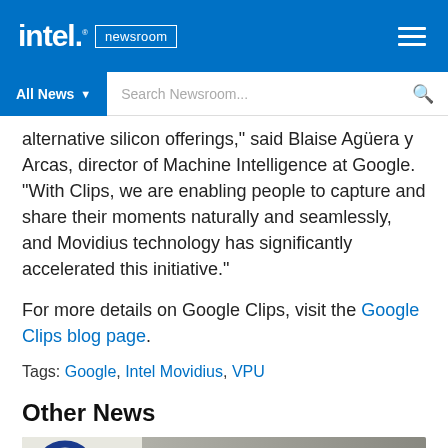intel. newsroom
alternative silicon offerings," said Blaise Agüera y Arcas, director of Machine Intelligence at Google. “With Clips, we are enabling people to capture and share their moments naturally and seamlessly, and Movidius technology has significantly accelerated this initiative.”
For more details on Google Clips, visit the Google Clips blog page.
Tags: Google, Intel Movidius, VPU
Other News
[Figure (photo): Mobileye / An Intel Company logo on a wall with a car partially visible]